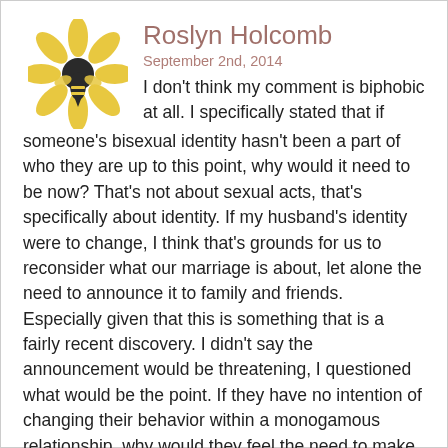[Figure (illustration): A stylized flower/bee icon with yellow petals and a black bee in the center]
Roslyn Holcomb
September 2nd, 2014
I don't think my comment is biphobic at all. I specifically stated that if someone's bisexual identity hasn't been a part of who they are up to this point, why would it need to be now? That's not about sexual acts, that's specifically about identity. If my husband's identity were to change, I think that's grounds for us to reconsider what our marriage is about, let alone the need to announce it to family and friends. Especially given that this is something that is a fairly recent discovery. I didn't say the announcement would be threatening, I questioned what would be the point. If they have no intention of changing their behavior within a monogamous relationship, why would they feel the need to make